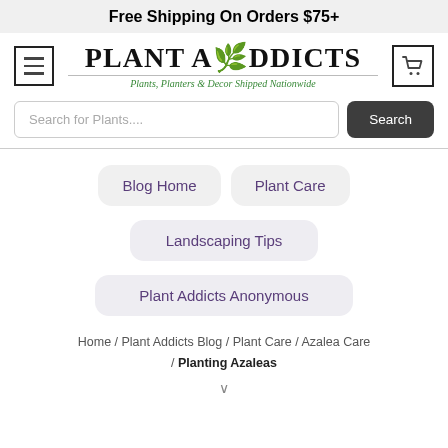Free Shipping On Orders $75+
PLANT ADDICTS — Plants, Planters & Decor Shipped Nationwide
Search for Plants.... [Search button]
Blog Home
Plant Care
Landscaping Tips
Plant Addicts Anonymous
Home / Plant Addicts Blog / Plant Care / Azalea Care / Planting Azaleas